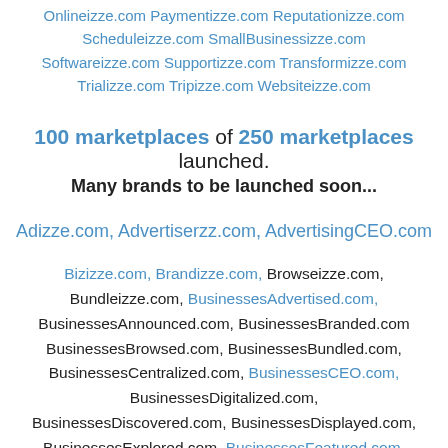Onlineizze.com Paymentizze.com Reputationizze.com Scheduleizze.com SmallBusinessizze.com Softwareizze.com Supportizze.com Transformizze.com Trializze.com Tripizze.com Websiteizze.com
100 marketplaces of 250 marketplaces launched. Many brands to be launched soon...
Adizze.com, Advertiserzz.com, AdvertisingCEO.com
Bizizze.com, Brandizze.com, Browseizze.com, Bundleizze.com, BusinessesAdvertised.com, BusinessesAnnounced.com, BusinessesBranded.com BusinessesBrowsed.com, BusinessesBundled.com, BusinessesCentralized.com, BusinessesCEO.com, BusinessesDigitalized.com, BusinessesDiscovered.com, BusinessesDisplayed.com, BusinessesExplored.com, BusinessesFeatured.com,